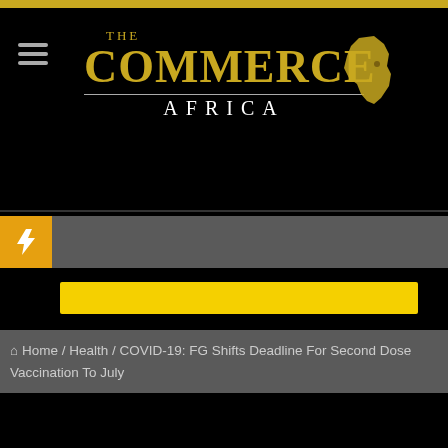[Figure (logo): The Commerce Africa logo with gold text and Africa map outline on black background]
[Figure (infographic): Breaking news bar with orange lightning bolt icon on gray background]
[Figure (infographic): Yellow highlight bar]
Home / Health / COVID-19: FG Shifts Deadline For Second Dose Vaccination To July